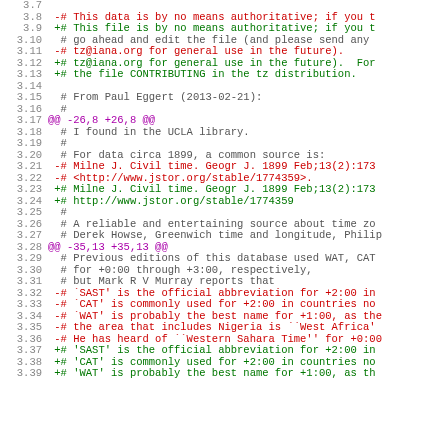Code diff view showing lines 3.7 through 3.38+, with line numbers and colored diff output (red for removed lines, green for added lines, purple for hunk headers, gray for context lines).